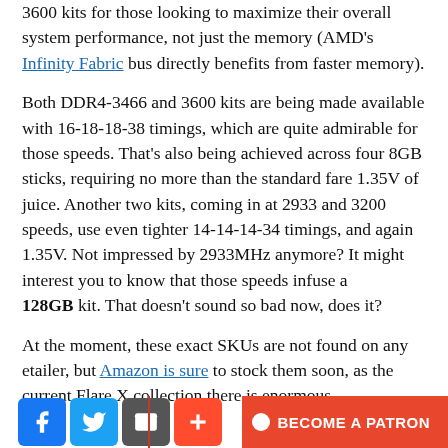3600 kits for those looking to maximize their overall system performance, not just the memory (AMD's Infinity Fabric bus directly benefits from faster memory).
Both DDR4-3466 and 3600 kits are being made available with 16-18-18-38 timings, which are quite admirable for those speeds. That's also being achieved across four 8GB sticks, requiring no more than the standard fare 1.35V of juice. Another two kits, coming in at 2933 and 3200 speeds, use even tighter 14-14-14-34 timings, and again 1.35V. Not impressed by 2933MHz anymore? It might interest you to know that those speeds infuse a 128GB kit. That doesn't sound so bad now, does it?
At the moment, these exact SKUs are not found on any etailer, but Amazon is sure to stock them soon, as the current Flare X collection there is enormous.